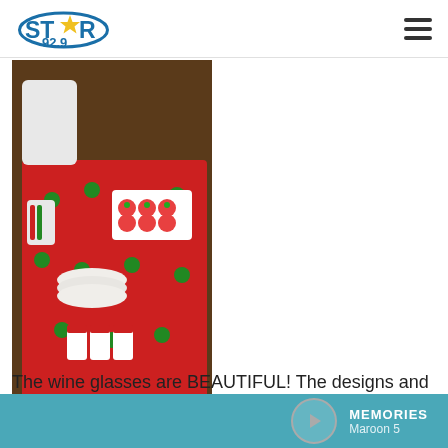STAR 92.9
[Figure (photo): A table covered with a red polka-dot tablecloth displaying various Christmas-themed items including wine glasses, mugs, jars, cupcakes, and other holiday merchandise arranged on and around the table in an indoor setting.]
The wine glasses are BEAUTIFUL! The designs and  styles
MEMORIES  Maroon 5